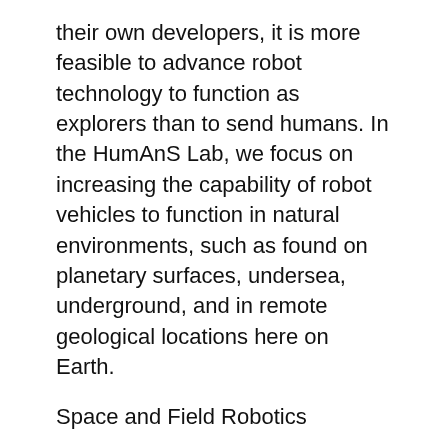their own developers, it is more feasible to advance robot technology to function as explorers than to send humans. In the HumAnS Lab, we focus on increasing the capability of robot vehicles to function in natural environments, such as found on planetary surfaces, undersea, underground, and in remote geological locations here on Earth.
Space and Field Robotics
| SnoMotes | Arctic Navigation | Robot Surveying |
The focus of the lab is on control of autonomous systems that operate in the real-world. Thus, real-time capability is a necessary component of any technology used for control. To accomplish this goal, we develop techniques that allow real-time decision-making based on perceptions of the